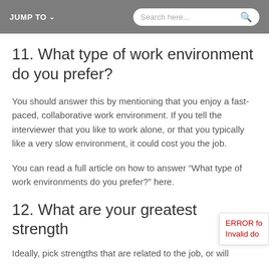JUMP TO  Search here...
11. What type of work environment do you prefer?
You should answer this by mentioning that you enjoy a fast-paced, collaborative work environment. If you tell the interviewer that you like to work alone, or that you typically like a very slow environment, it could cost you the job.
You can read a full article on how to answer “What type of work environments do you prefer?” here.
12. What are your greatest strengths
Ideally, pick strengths that are related to the job, or will